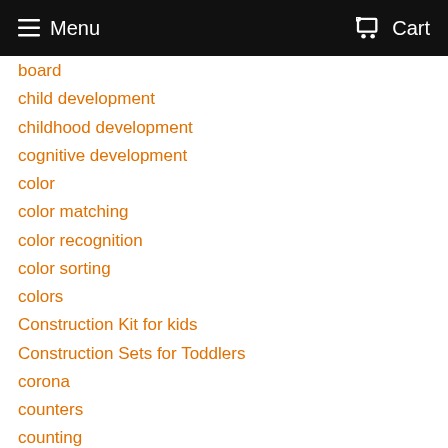Menu  Cart
board
child development
childhood development
cognitive development
color
color matching
color recognition
color sorting
colors
Construction Kit for kids
Construction Sets for Toddlers
corona
counters
counting
Counting Bears
Counting Bears for Toddlers